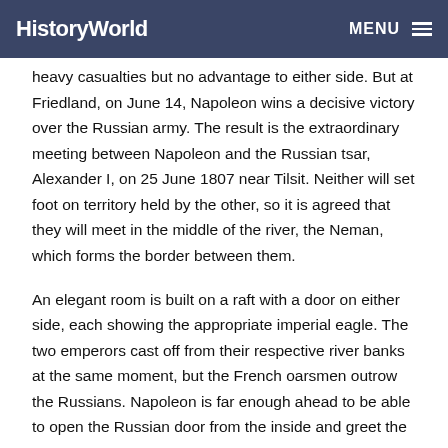HistoryWorld  MENU
heavy casualties but no advantage to either side. But at Friedland, on June 14, Napoleon wins a decisive victory over the Russian army. The result is the extraordinary meeting between Napoleon and the Russian tsar, Alexander I, on 25 June 1807 near Tilsit. Neither will set foot on territory held by the other, so it is agreed that they will meet in the middle of the river, the Neman, which forms the border between them.
An elegant room is built on a raft with a door on either side, each showing the appropriate imperial eagle. The two emperors cast off from their respective river banks at the same moment, but the French oarsmen outrow the Russians. Napoleon is far enough ahead to be able to open the Russian door from the inside and greet the tsar.